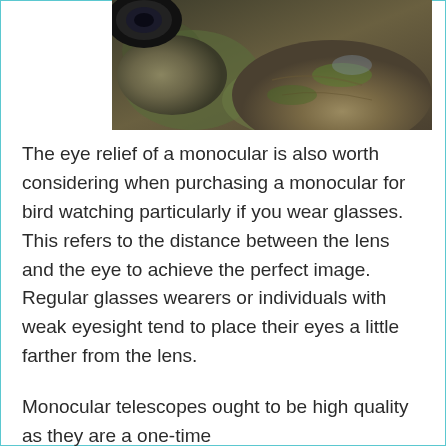[Figure (photo): A close-up photograph of rocks and what appears to be a monocular/optical instrument lens, with mossy green and dark stone textures visible.]
The eye relief of a monocular is also worth considering when purchasing a monocular for bird watching particularly if you wear glasses. This refers to the distance between the lens and the eye to achieve the perfect image. Regular glasses wearers or individuals with weak eyesight tend to place their eyes a little farther from the lens.
Monocular telescopes ought to be high quality as they are a one-time